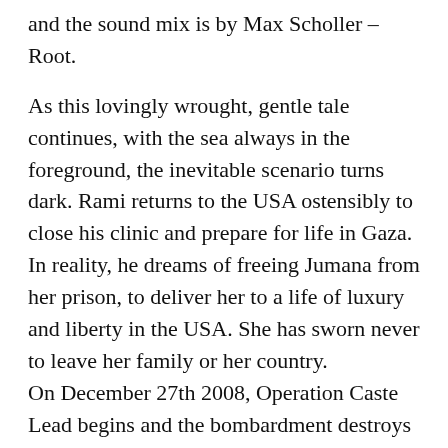and the sound mix is by Max Scholler –Root.
As this lovingly wrought, gentle tale continues, with the sea always in the foreground, the inevitable scenario turns dark. Rami returns to the USA ostensibly to close his clinic and prepare for life in Gaza. In reality, he dreams of freeing Jumana from her prison, to deliver her to a life of luxury and liberty in the USA. She has sworn never to leave her family or her country.
On December 27th 2008, Operation Caste Lead begins and the bombardment destroys Jumana's home, kills all of Lama's large family and brings back Rami, smuggled into Gaza through the tunnels. He works day and night as a doctor to save lives and comes at last to grips with the Gazan reality.
One month later, in the shadow of the ruins of her